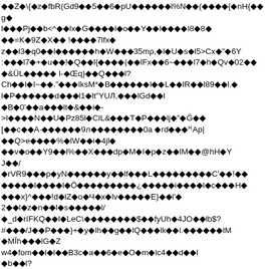◆◆Z◆\{◆z◆fbR(Gd9◆◆5◆◆6◆pU◆◆◆◆◆◆l%N◆◆(◆◆◆◆{◆nH{◆◆g◆
l◆◆◆Pj◆◆b<^◆◆lx◆G◆◆◆◆l◆o◆◆Y◆◆l◆◆◆◆l8◆8◆◆◆◆=K◆9Z◆X◆◆ !◆◆◆◆7lfx◆
z◆◆l3◆q0◆◆l◆◆◆◆◆◆h◆W◆◆◆35mρ,◆l◆U◆s◆l5>Cx◆"◆6Y
:◆◆◆l7◆+◆u◆◆!◆Q◆◆l{◆◆◆◆(◆◆lFx◆◆6~◆◆◆l7◆h◆Qv◆02◆◆◆
◆&ÜL◆◆◆◆◆ l-◆Œq}◆◆Q◆◆◆l?
Ch◆◆l◆I~◆◆."◆◆◆lks◆M*◆B◆◆◆◆◆◆l◆◆L◆◆lR◆◆l89◆◆l.◆
l◆P◆◆◆◆◆◆d◆◆◆l1◆lt"YUЛ,◆◆◆lGd◆◆l
◆B◆0'◆◆a◆◆◆lt◆&◆◆i◆-
>l◆◆◆◆N◆◆U◆Pz85l◆ClL&◆◆◆T◆P◆◆◆lj◆"◆Ĝ◆◆
[◆◆c◆◆A·◆◆◆◆◆◆9л◆◆◆◆◆◆◆◆0a ◆rd◆◆◆ᴴAp|
◆◆Q>e◆◆◆◆%◆lW◆◆i◆4jl◆
◆◆v◆o◆◆Y9◆◆l%◆◆X◆◆◆dp◆M◆I◆p◆z◆◆lM◆◆@hH◆Y
J◆◆/
◆rVR9◆◆◆p◆yN◆◆◆◆◆◆y◆◆lf◆◆◆L◆◆◆◆◆◆◆◆◆C'◆◆!◆◆
◆◆◆◆◆l◆◆◆◆l◆Ö◆◆◆◆◆◆◆◆◆¿◆◆◆◆◆i◆◆◆◆l◆c◆◆◆H◆
◆◆◆x}^◆◆◆!d◆lZ◆o◆Ч◆x◆lv◆◆◆◆◆E}◆◆l'◆
2◆◆l◆z◆n◆◆l◆s◆◆◆◆◆l/
◆_d◆ríFKQ◆◆l◆LeC\◆◆◆◆◆◆◆◆$◆◆fyUh◆4JO◆◆lb$?
#◆◆◆/J◆◆P◆◆◆}+◆y◆lh◆◆g◆◆lQ◆◆◆lk◆◆l.◆◆◆◆◆◆lM
◆MĬh◆◆◆lG◆Z
w4◆fom◆◆l◆l◆◆B3c◆a◆◆6◆e◆O◆m◆lc4◆◆d◆◆l
◆b◆◆l?